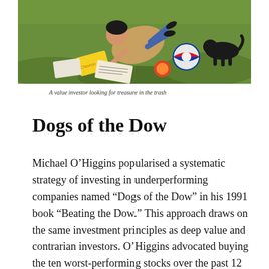[Figure (illustration): A colorful illustration of a person (value investor) rummaging through trash/garbage on a grassy area, with various discarded items including branded products visible.]
A value investor looking for treasure in the trash
Dogs of the Dow
Michael O’Higgins popularised a systematic strategy of investing in underperforming companies named “Dogs of the Dow” in his 1991 book “Beating the Dow.” This approach draws on the same investment principles as deep value and contrarian investors. O’Higgins advocated buying the ten worst-performing stocks over the past 12 months from the Dow Jones Industrial Average (DJIA) at the beginning of the year...